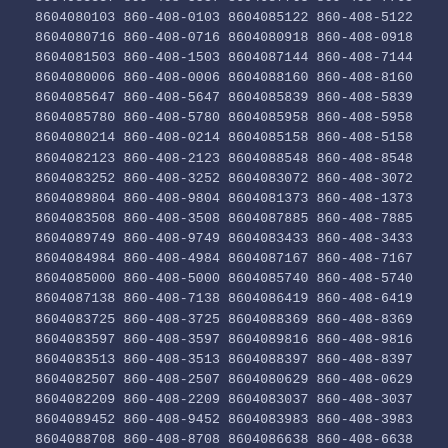8604081333 860-408-1333 8604080369 860-408-0369
8604088446 860-408-8446 8604086972 860-408-6972
8604086361 860-408-6361 8604089644 860-408-9644
8604083357 860-408-3357 8604087763 860-408-7763
8604080103 860-408-0103 8604085122 860-408-5122
8604080716 860-408-0716 8604080918 860-408-0918
8604081503 860-408-1503 8604087144 860-408-7144
8604080006 860-408-0006 8604088160 860-408-8160
8604085647 860-408-5647 8604085839 860-408-5839
8604085780 860-408-5780 8604085958 860-408-5958
8604080214 860-408-0214 8604085158 860-408-5158
8604082123 860-408-2123 8604088548 860-408-8548
8604083252 860-408-3252 8604083072 860-408-3072
8604089804 860-408-9804 8604081373 860-408-1373
8604083508 860-408-3508 8604087885 860-408-7885
8604089749 860-408-9749 8604083433 860-408-3433
8604084984 860-408-4984 8604087167 860-408-7167
8604085000 860-408-5000 8604085740 860-408-5740
8604087138 860-408-7138 8604086419 860-408-6419
8604083725 860-408-3725 8604088369 860-408-8369
8604083597 860-408-3597 8604089816 860-408-9816
8604083513 860-408-3513 8604088397 860-408-8397
8604082507 860-408-2507 8604080629 860-408-0629
8604082209 860-408-2209 8604083037 860-408-3037
8604089452 860-408-9452 8604083983 860-408-3983
8604088708 860-408-8708 8604086638 860-408-6638
8604082442 860-408-2442 8604083643 860-408-3643
8604087242 860-408-7242 8604084480 860-408-4480
8604087534 860-408-7534 8604088200 860-408-8200